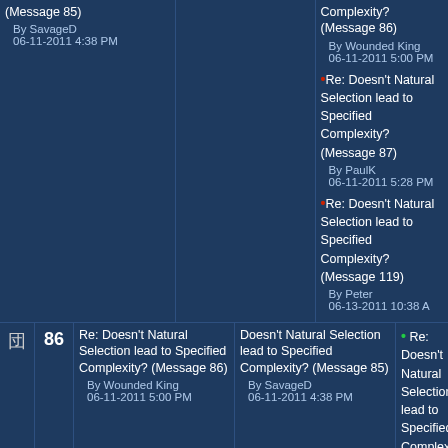|  | # | Message | In Reply To | Thread |
| --- | --- | --- | --- | --- |
|  |  | (Message 85)
By SavageD
06-11-2011 4:38 PM |  | Complexity?
(Message 86)
By Wounded King
06-11-2011 5:00 PM
•Re: Doesn't Natural Selection lead to Specified Complexity?
(Message 87)
By PaulK
06-11-2011 5:28 PM
•Re: Doesn't Natural Selection lead to Specified Complexity?
(Message 119)
By Peter
06-13-2011 10:38 A |
| icon | 86 | Re: Doesn't Natural Selection lead to Specified Complexity?
(Message 86)
By Wounded King
06-11-2011 5:00 PM | Doesn't Natural Selection lead to Specified Complexity?
(Message 85)
By SavageD
06-11-2011 4:38 PM | •Re: Doesn't Natural Selection lead to Specified Complexity?
(Message 88)
By SavageD
06-11-2011 7:28 P |
| icon | 87 | Re: Doesn't Natural Selection lead to Specified Complexity?
(Message 87)
By PaulK
06-11-2011 5:28 PM | Doesn't Natural Selection lead to Specified Complexity?
(Message 85)
By SavageD
06-11-2011 4:38 PM |  |
| icon | 88 | Re: Doesn't Natural Selection lead to Specified Complexity?
(Message 88)
By... | Re: Doesn't Natural Selection lead to Specified Complexity?
(Message...) | •Re: Natura... |